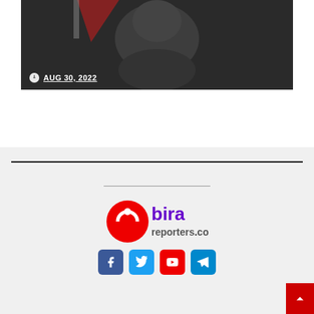[Figure (photo): Dark-toned photograph of a person, partially visible at top of card, with a date badge overlay showing AUG 30, 2022]
AUG 30, 2022
[Figure (logo): Bira Reporters logo — red circular arrow icon with purple 'bira' text and grey 'reporters.com' text]
[Figure (infographic): Social media icon buttons: Facebook (blue), Twitter (light blue), YouTube (red), Telegram (blue)]